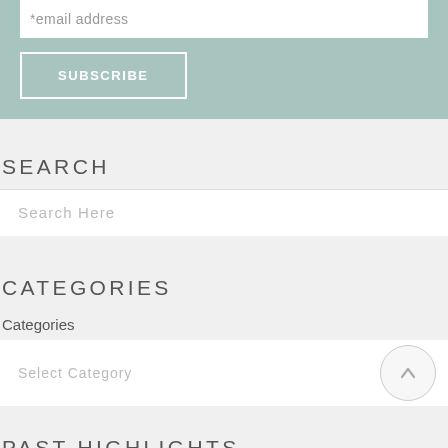*email address
SUBSCRIBE
SEARCH
Search Here
CATEGORIES
Categories
Select Category
PAST HIGHLIGHTS